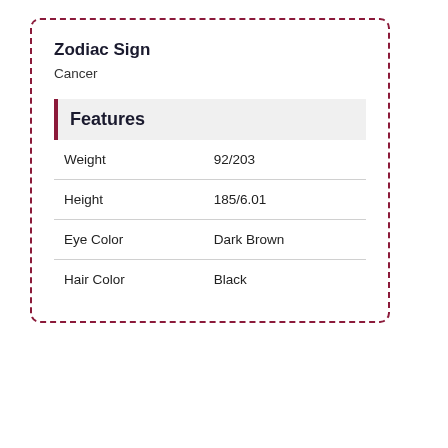Zodiac Sign
Cancer
Features
|  |  |
| --- | --- |
| Weight | 92/203 |
| Height | 185/6.01 |
| Eye Color | Dark Brown |
| Hair Color | Black |